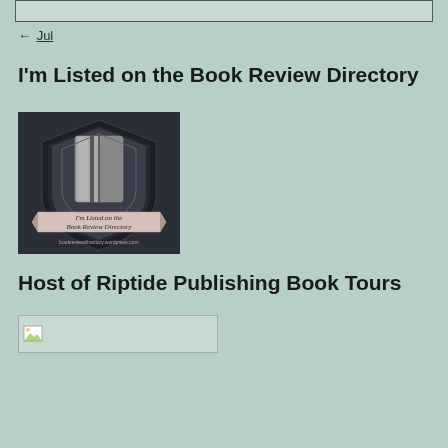← Jul
I'm Listed on the Book Review Directory
[Figure (photo): Badge/shield image with text 'I'm Listed on the Book Review Directory' and website 'bookreviewdirectory.wordpress.com' on a banner across the bottom of a metallic shield on dark background]
Host of Riptide Publishing Book Tours
[Figure (photo): Broken image placeholder icon with empty image box]